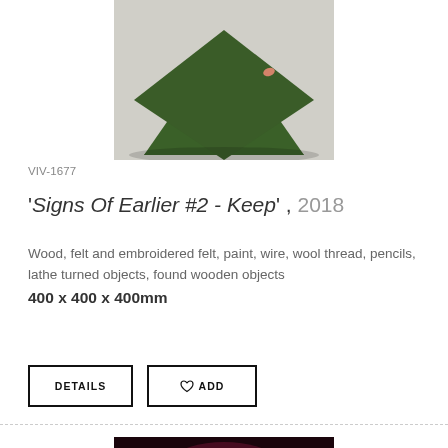[Figure (photo): Photo of a dark green felt/fabric square on a light concrete floor, viewed from above at an angle. A small orange/skin-colored object is visible in the upper right area of the green surface.]
VIV-1677
'Signs Of Earlier #2 - Keep', 2018
Wood, felt and embroidered felt, paint, wire, wool thread, pencils, lathe turned objects, found wooden objects
400 x 400 x 400mm
[Figure (photo): Photo of neon pink/magenta light art object or sculpture against a very dark almost black background with purple/magenta ambient glow.]